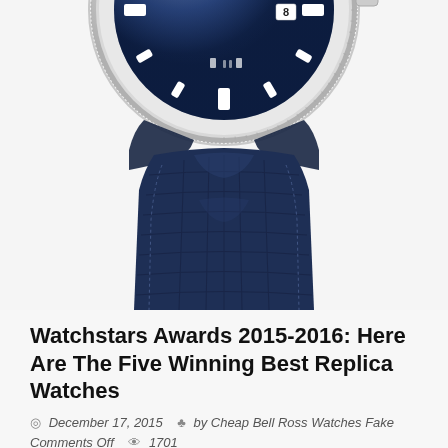[Figure (photo): Close-up photo of a luxury watch with blue dial featuring a star logo, date window showing '8', silver coin-edge bezel, and dark navy blue crocodile-pattern leather strap. Only the lower half of the watch face and the strap are visible.]
Watchstars Awards 2015-2016: Here Are The Five Winning Best Replica Watches
December 17, 2015  by Cheap Bell Ross Watches Fake  Comments Off  1701